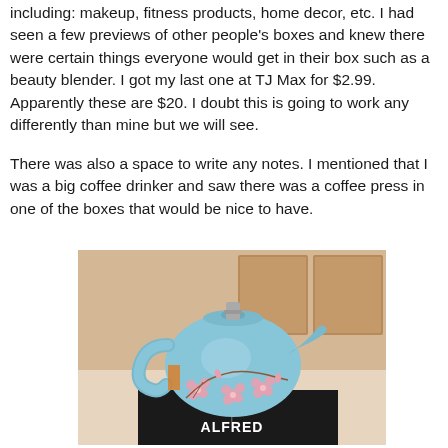including: makeup, fitness products, home decor, etc. I had seen a few previews of other people's boxes and knew there were certain things everyone would get in their box such as a beauty blender. I got my last one at TJ Max for $2.99. Apparently these are $20. I doubt this is going to work any differently than mine but we will see.
There was also a space to write any notes. I mentioned that I was a big coffee drinker and saw there was a coffee press in one of the boxes that would be nice to have.
[Figure (photo): A light blue ceramic teapot with pink cherry blossom floral pattern sitting on top of a dark box labeled ALFRED with antler logo]